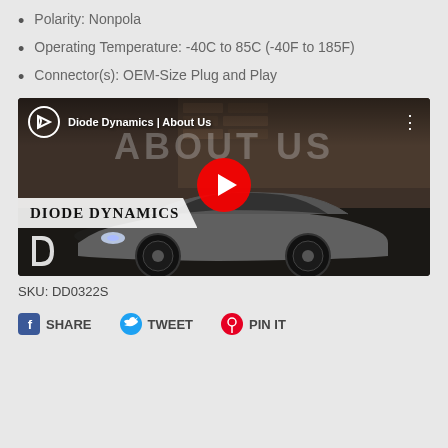Polarity: Nonpola
Operating Temperature: -40C to 85C (-40F to 185F)
Connector(s): OEM-Size Plug and Play
[Figure (screenshot): YouTube video thumbnail for 'Diode Dynamics | About Us' showing a gray Ford Mustang with a YouTube play button overlay and Diode Dynamics branding.]
SKU: DD0322S
SHARE   TWEET   PIN IT